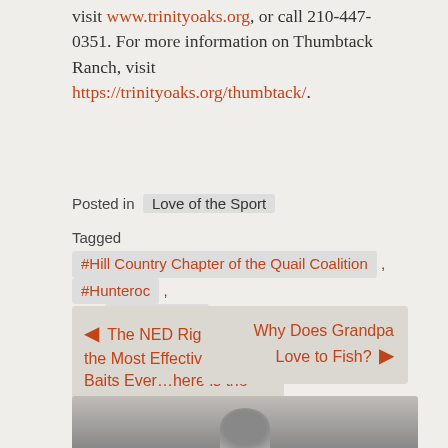visit www.trinityoaks.org, or call 210-447-0351. For more information on Thumbtack Ranch, visit https://trinityoaks.org/thumbtack/.
Posted in  Love of the Sport
Tagged  #Hill Country Chapter of the Quail Coalition ,  #Hunteroc ,  #Karen Lutto ,  #Trinity Oaks Thumbtack Ranch
◄ The NED Rig: One of the Most Effective Fishing Baits Ever…here is the story
Why Does Grandpa Love to Fish? ►
[Figure (other): Social share buttons: Facebook, Twitter, Email, Pinterest, More. A scroll-to-top button on the right.]
[Figure (photo): Bottom partial photo, appears to be a person or outdoor scene, cropped.]